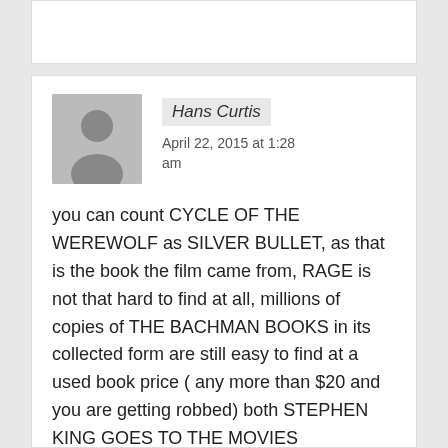Hans Curtis
April 22, 2015 at 1:28 am
you can count CYCLE OF THE WEREWOLF as SILVER BULLET, as that is the book the film came from, RAGE is not that hard to find at all, millions of copies of THE BACHMAN BOOKS in its collected form are still easy to find at a used book price ( any more than $20 and you are getting robbed) both STEPHEN KING GOES TO THE MOVIES